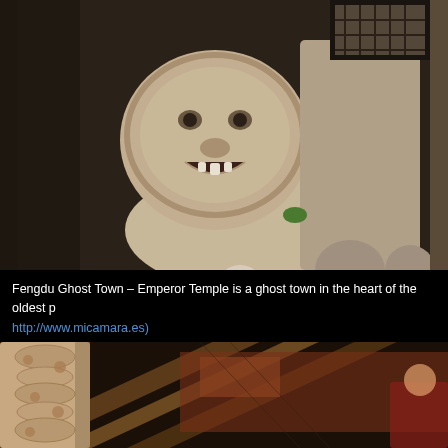[Figure (photo): Stone lion guardian statue at Fengdu Ghost Town Emperor Temple, with decorative wooden architectural elements in the background. The lion holds a skull and stands before dark wooden temple doors with latticed windows.]
Fengdu Ghost Town – Emperor Temple is a ghost town in the heart of the oldest p… http://www.micamara.es)
[Figure (photo): Interior view of temple ceiling and carved stone column with dragon or lion motifs, showing wooden ceiling beams with painted decorations in red and gold tones.]